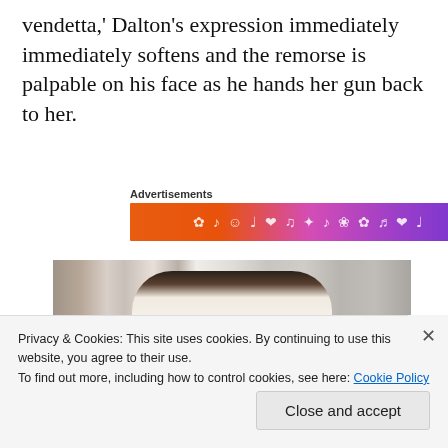vendetta,' Dalton's expression immediately immediately softens and the remorse is palpable on his face as he hands her gun back to her.
Advertisements
[Figure (illustration): Decorative advertisement banner with gradient from orange to purple, featuring small decorative icons and symbols in white.]
[Figure (photo): A person leaning forward with dark hair, wearing a white shirt, photographed indoors.]
Privacy & Cookies: This site uses cookies. By continuing to use this website, you agree to their use.
To find out more, including how to control cookies, see here: Cookie Policy
Close and accept